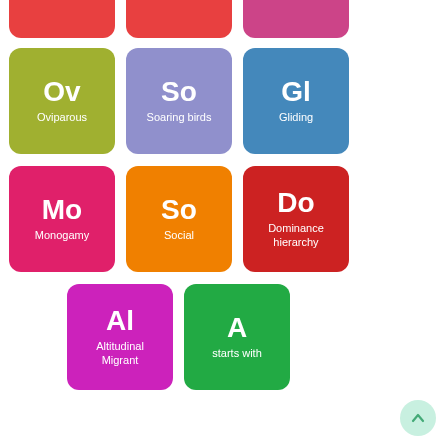[Figure (infographic): Partial red tile top-left (cropped)]
[Figure (infographic): Partial red tile top-center (cropped)]
[Figure (infographic): Partial pink/magenta tile top-right (cropped)]
[Figure (infographic): Olive/yellow-green tile: Ov / Oviparous]
[Figure (infographic): Periwinkle/lavender tile: So / Soaring birds]
[Figure (infographic): Steel blue tile: Gl / Gliding]
[Figure (infographic): Hot pink/magenta tile: Mo / Monogamy]
[Figure (infographic): Orange tile: So / Social]
[Figure (infographic): Red tile: Do / Dominance hierarchy]
[Figure (infographic): Magenta/purple tile: Al / Altitudinal Migrant]
[Figure (infographic): Green tile: A / starts with]